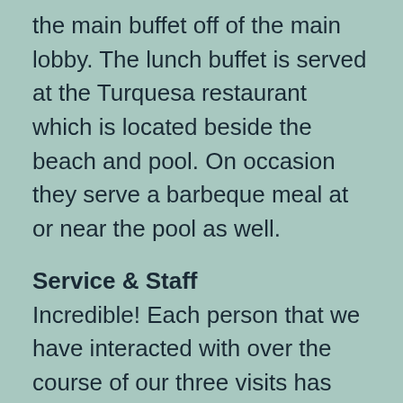the main buffet off of the main lobby. The lunch buffet is served at the Turquesa restaurant which is located beside the beach and pool. On occasion they serve a barbeque meal at or near the pool as well.
Service & Staff
Incredible! Each person that we have interacted with over the course of our three visits has been wonderful. Special thanks to Management – Helena and Sebastian; Front Desk – Claudia, Aldo, Jorge, Gilberto and Juan Carlos; Chamber Maid – Maria; Bar Servers – Osvaldo, Benjamin and the rest of that crazy